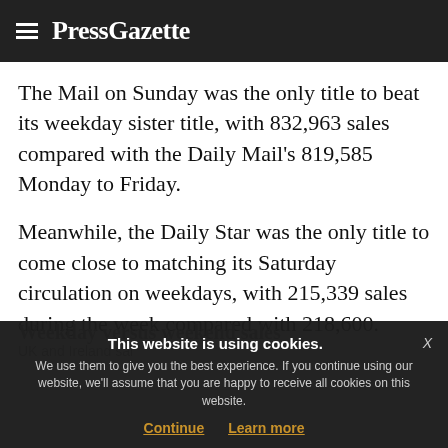PressGazette
The Mail on Sunday was the only title to beat its weekday sister title, with 832,963 sales compared with the Daily Mail's 819,585 Monday to Friday.
Meanwhile, the Daily Star was the only title to come close to matching its Saturday circulation on weekdays, with 215,339 sales during the week compared with 218,600.
Weekday versus weekend sales
UK and Ireland sales
This website is using cookies. We use them to give you the best experience. If you continue using our website, we'll assume that you are happy to receive all cookies on this website.